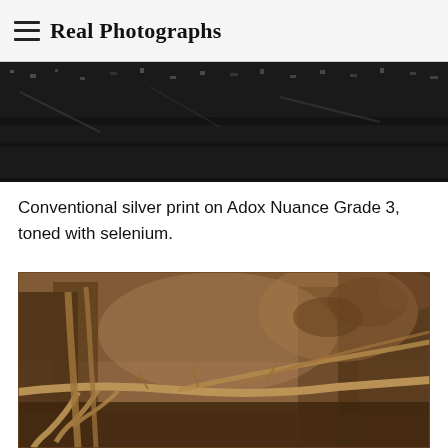Real Photographs
[Figure (photo): Black and white photograph showing gravel or rocky ground with what appears to be railroad track or metal fragments, high contrast silver print]
Conventional silver print on Adox Nuance Grade 3, toned with selenium.
[Figure (photo): Sepia-toned photograph of fallen tree branches and vines in a woodland or forest setting, warm brown tones throughout]